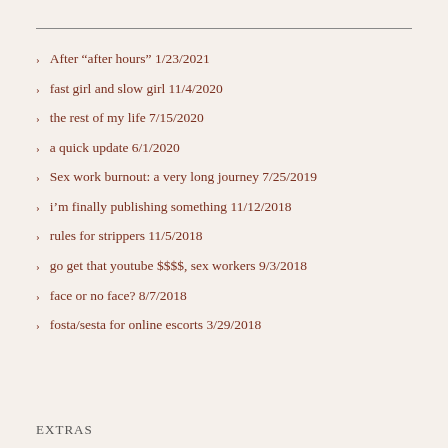After “after hours” 1/23/2021
fast girl and slow girl 11/4/2020
the rest of my life 7/15/2020
a quick update 6/1/2020
Sex work burnout: a very long journey 7/25/2019
i’m finally publishing something 11/12/2018
rules for strippers 11/5/2018
go get that youtube $$$$, sex workers 9/3/2018
face or no face? 8/7/2018
fosta/sesta for online escorts 3/29/2018
EXTRAS